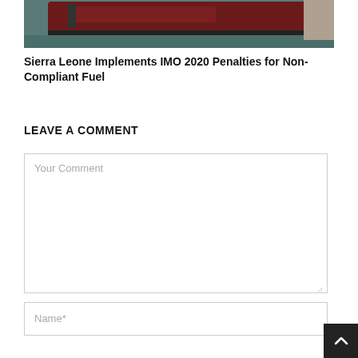[Figure (photo): Photograph of a ship at a dock or port, showing the hull of a vessel near water and a pier.]
Sierra Leone Implements IMO 2020 Penalties for Non-Compliant Fuel
LEAVE A COMMENT
Your Comment
Name*